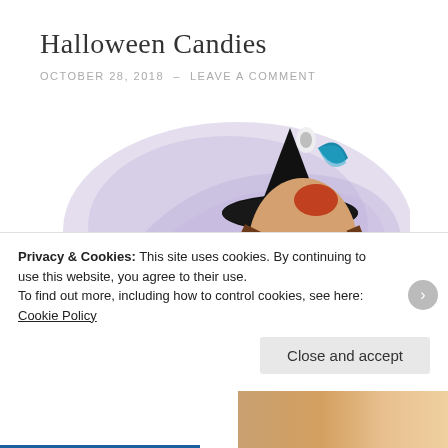Halloween Candies
OCTOBER 28, 2018  –  LEAVE A COMMENT
[Figure (illustration): Digital illustration of a witch woman in a black hat with Halloween decorations, candies, a spider, and webs. The name 'RACHEL' appears overlaid. Background has purple/lavender swirl effects.]
Privacy & Cookies: This site uses cookies. By continuing to use this website, you agree to their use.
To find out more, including how to control cookies, see here: Cookie Policy
Close and accept